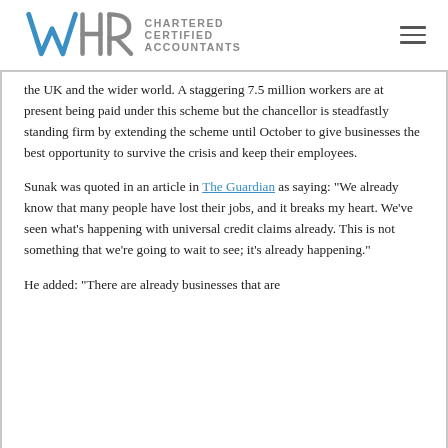WHR CHARTERED CERTIFIED ACCOUNTANTS
the UK and the wider world. A staggering 7.5 million workers are at present being paid under this scheme but the chancellor is steadfastly standing firm by extending the scheme until October to give businesses the best opportunity to survive the crisis and keep their employees.
Sunak was quoted in an article in The Guardian as saying: “We already know that many people have lost their jobs, and it breaks my heart. We’ve seen what’s happening with universal credit claims already. This is not something that we’re going to wait to see; it’s already happening.”
He added: “There are already businesses that are